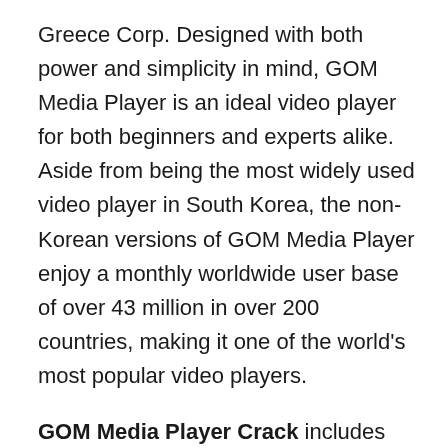Greece Corp. Designed with both power and simplicity in mind, GOM Media Player is an ideal video player for both beginners and experts alike. Aside from being the most widely used video player in South Korea, the non-Korean versions of GOM Media Player enjoy a monthly worldwide user base of over 43 million in over 200 countries, making it one of the world's most popular video players.
GOM Media Player Crack includes built-in support for all the most popular video formats (MP4, AVI, WMV, MKV, MOV, FLV, etc), loads of advanced features (screen capture, audio capture, video playback speed control, and more), and the Codec Finder service that helps you locate missing codec for formats that aren't supported by default. You can even watch broken and incomplete AVI files with GOM Media...